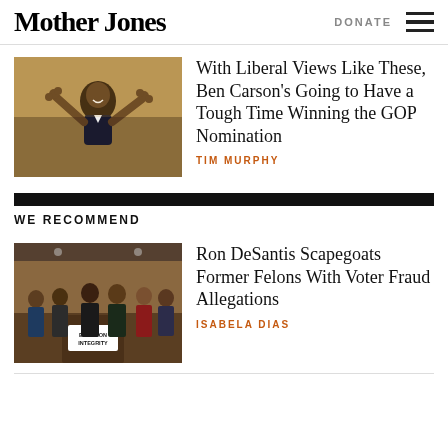Mother Jones | DONATE
With Liberal Views Like These, Ben Carson's Going to Have a Tough Time Winning the GOP Nomination
TIM MURPHY
WE RECOMMEND
Ron DeSantis Scapegoats Former Felons With Voter Fraud Allegations
ISABELA DIAS